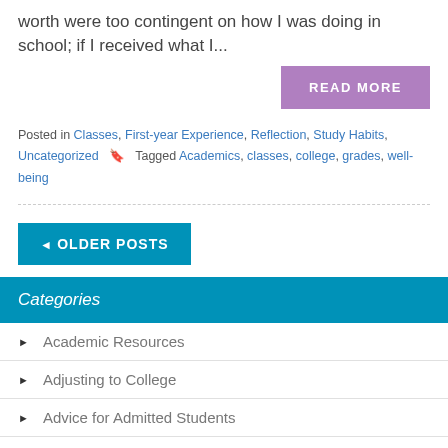worth were too contingent on how I was doing in school; if I received what I...
READ MORE
Posted in Classes, First-year Experience, Reflection, Study Habits, Uncategorized   Tagged Academics, classes, college, grades, well-being
◄ OLDER POSTS
Categories
Academic Resources
Adjusting to College
Advice for Admitted Students